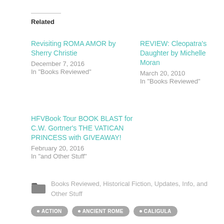Related
Revisiting ROMA AMOR by Sherry Christie
December 7, 2016
In "Books Reviewed"
REVIEW: Cleopatra's Daughter by Michelle Moran
March 20, 2010
In "Books Reviewed"
HFVBook Tour BOOK BLAST for C.W. Gortner's THE VATICAN PRINCESS with GIVEAWAY!
February 20, 2016
In "and Other Stuff"
Books Reviewed, Historical Fiction, Updates, Info, and Other Stuff
ACTION   ANCIENT ROME   CALIGULA